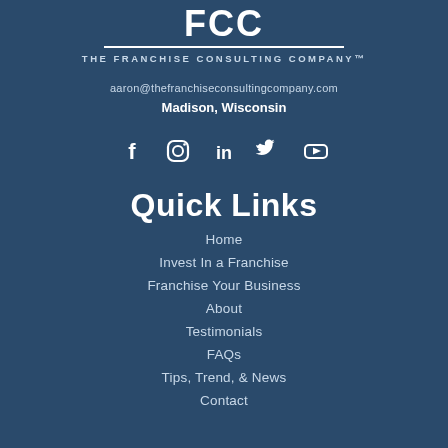[Figure (logo): FCC - The Franchise Consulting Company logo with large FCC text, horizontal rule, and company name in small caps]
aaron@thefranchiseconsultingcompany.com
Madison, Wisconsin
[Figure (illustration): Social media icons: Facebook, Instagram, LinkedIn, Twitter, YouTube]
Quick Links
Home
Invest In a Franchise
Franchise Your Business
About
Testimonials
FAQs
Tips, Trend, & News
Contact